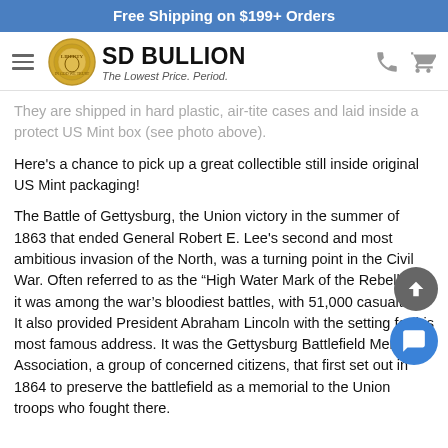Free Shipping on $199+ Orders
[Figure (logo): SD Bullion logo with coin image and tagline 'The Lowest Price. Period.']
They are shipped in hard plastic, air-tite cases and laid inside a protect US Mint box (see photo above).
Here's a chance to pick up a great collectible still inside original US Mint packaging!
The Battle of Gettysburg, the Union victory in the summer of 1863 that ended General Robert E. Lee's second and most ambitious invasion of the North, was a turning point in the Civil War. Often referred to as the “High Water Mark of the Rebellion,” it was among the war’s bloodiest battles, with 51,000 casualties. It also provided President Abraham Lincoln with the setting for his most famous address. It was the Gettysburg Battlefield Memorial Association, a group of concerned citizens, that first set out in 1864 to preserve the battlefield as a memorial to the Union troops who fought there.